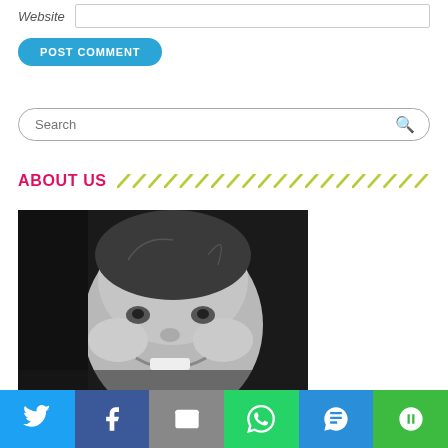Website
POST COMMENT
Search
ABOUT US
[Figure (photo): Black and white photo of a smiling toddler/baby with light hair, looking up slightly, showing teeth in a big smile.]
[Figure (infographic): Social share bar with icons: Twitter, Facebook, Email, WhatsApp, SMS, More]